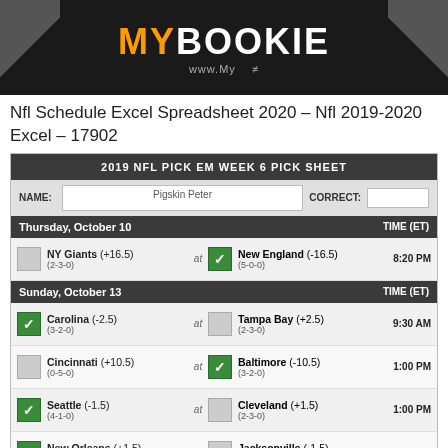[Figure (logo): MyBookie logo on dark banner background with diagonal corner accents]
Nfl Schedule Excel Spreadsheet 2020 – Nfl 2019-2020 Excel – 17902
| 2019 NFL PICK EM WEEK 6 PICK SHEET |
| --- |
| NAME: | Pigskin Peter | CORRECT: |  |
| Thursday, October 10 |  |  | TIME (ET) |
| [  ] | NY Giants (+16.5) (2-3-0) | at | [✓] | New England (-16.5) (5-0-0) | 8:20 PM |
| Sunday, October 13 |  |  | TIME (ET) |
| [✓] | Carolina (-2.5) (3-2-0) | at | [  ] | Tampa Bay (+2.5) (2-3-0) | 9:30 AM |
| [  ] | Cincinnati (+10.5) (0-5-0) | at | [✓] | Baltimore (-10.5) (3-2-0) | 1:00 PM |
| [✓] | Seattle (-1.5) (4-1-0) | at | [  ] | Cleveland (+1.5) (2-3-0) | 1:00 PM |
| [✓] | New Orleans (+1.5) (4-1-0) | at | [  ] | Jacksonville (-1.5) (2-3-0) | 1:00 PM |
| [  ] | Houston (+4) (3-2-0) | at | [✓] | Kansas City (-4) (4-1-0) | 1:00 PM |
| [✓] | Washington (-3.5) | at | [  ] | Miami (+3.5) | 1:00 PM |